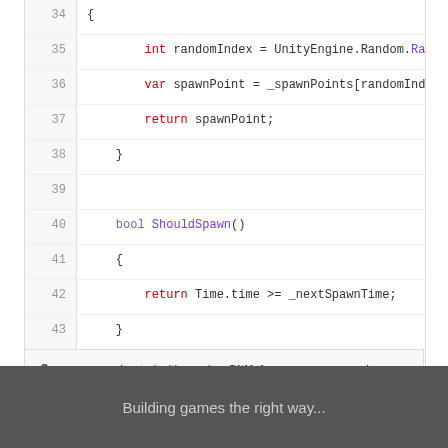[Figure (screenshot): Code snippet from Spawner.cs showing C# code lines 34-44 with line numbers, keywords colored in red and purple, displayed in a GitHub Gist style code viewer]
Spawner.cs hosted with ❤ by GitHub    view raw
Building games the right way...